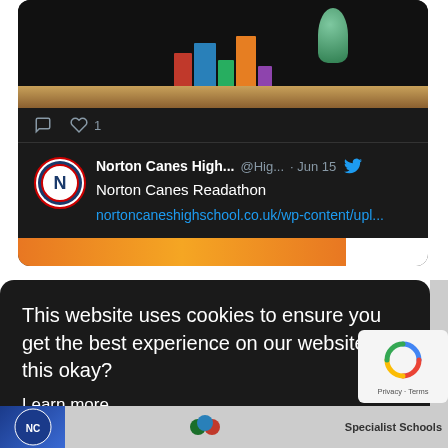[Figure (screenshot): Twitter/X social media post from Norton Canes High School account showing books image, like button with count of 1, and tweet content about Norton Canes Readathon with link to nortoncaneshighschool.co.uk/wp-content/upl...]
Norton Canes High... @Hig... · Jun 15
Norton Canes Readathon
nortoncaneshighschool.co.uk/wp-content/upl...
This website uses cookies to ensure you get the best experience on our website. Is this okay?
Learn more
Decline
Allow cookies
Specialist Schools